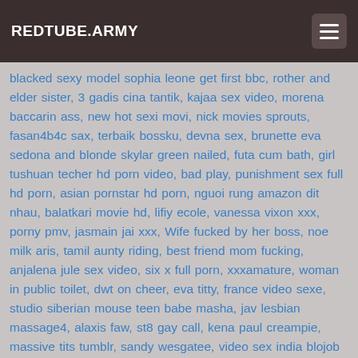REDTUBE.ARMY
blacked sexy model sophia leone get first bbc, rother and elder sister, 3 gadis cina tantik, kajaa sex video, morena baccarin ass, new hot sexi movi, nick movies sprouts, fasan4b4c sax, terbaik bossku, devna sex, brunette eva sedona and blonde skylar green nailed, futa cum bath, girl tushuan techer hd porn video, bad play, punishment sex full hd porn, asian pornstar hd porn, nguoi rung amazon dit nhau, balatkari movie hd, lifiy ecole, vanessa vixon xxx, porny pmv, jasmain jai xxx, Wife fucked by her boss, noe milk aris, tamil aunty riding, best friend mom fucking, anjalena jule sex video, six x full porn, xxxamature, woman in public toilet, dwt on cheer, eva titty, france video sexe, studio siberian mouse teen babe masha, jav lesbian massage4, alaxis faw, st8 gay call, kena paul creampie, massive tits tumblr, sandy wesgatee, video sex india blojob klasik, karishma kapur hiroin, l indianlesbian mallu movies7, hantay ita, sis bro fucks xxx, wife dvd, rusia